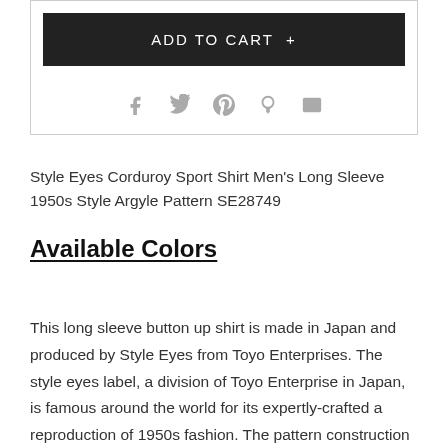[Figure (other): Add to Cart button (dark/black background with white text 'ADD TO CART +') and social sharing icons (Facebook, Twitter, Pinterest, Fancy, Email) below it inside a bordered card box]
Style Eyes Corduroy Sport Shirt Men's Long Sleeve 1950s Style Argyle Pattern SE28749
Available Colors
This long sleeve button up shirt is made in Japan and produced by Style Eyes from Toyo Enterprises. The style eyes label, a division of Toyo Enterprise in Japan, is famous around the world for its expertly-crafted a reproduction of 1950s fashion. The pattern construction